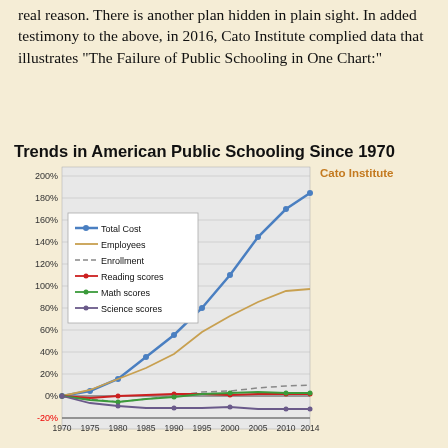real reason. There is another plan hidden in plain sight. In added testimony to the above, in 2016, Cato Institute complied data that illustrates "The Failure of Public Schooling in One Chart:"
[Figure (line-chart): Line chart showing trends in American public schooling since 1970. Total cost rose ~185%, employees ~97%, enrollment ~10%, while reading/math/science scores remained near flat or slightly negative.]